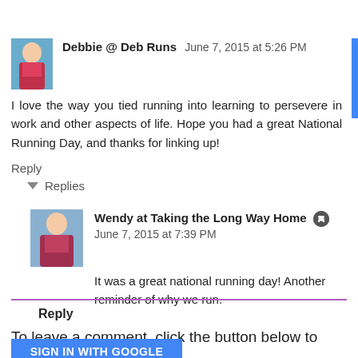[Figure (photo): Avatar photo of Debbie @ Deb Runs, woman in running attire]
Debbie @ Deb Runs  June 7, 2015 at 5:26 PM
I love the way you tied running into learning to persevere in work and other aspects of life. Hope you had a great National Running Day, and thanks for linking up!
Reply
▾ Replies
[Figure (photo): Avatar photo of Wendy at Taking the Long Way Home, woman running in race]
Wendy at Taking the Long Way Home  June 7, 2015 at 7:39 PM
It was a great national running day! Another reminder of why we run.
Reply
To leave a comment, click the button below to sign in with Google.
SIGN IN WITH GOOGLE